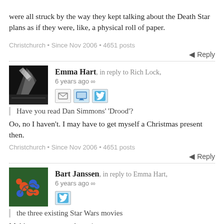were all struck by the way they kept talking about the Death Star plans as if they were, like, a physical roll of paper.
Christchurch • Since Nov 2006 • 4651 posts
Reply
Emma Hart, in reply to Rich Lock, 6 years ago
Have you read Dan Simmons' 'Drood'?
Oo, no I haven't. I may have to get myself a Christmas present then.
Christchurch • Since Nov 2006 • 4651 posts
Reply
Bart Janssen, in reply to Emma Hart, 6 years ago
the three existing Star Wars movies
Making a statement there :).